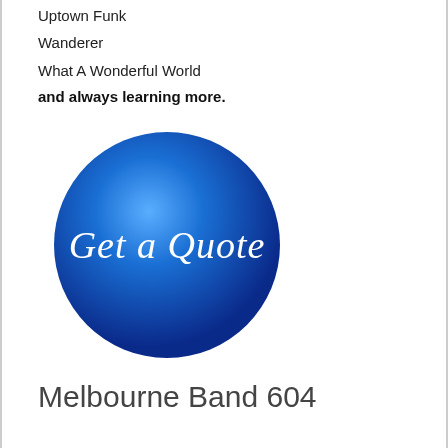Uptown Funk
Wanderer
What A Wonderful World
and always learning more.
[Figure (logo): A blue circular button with white cursive text reading 'Get a Quote', with a radial gradient from light blue center to dark blue edges.]
Melbourne Band 604